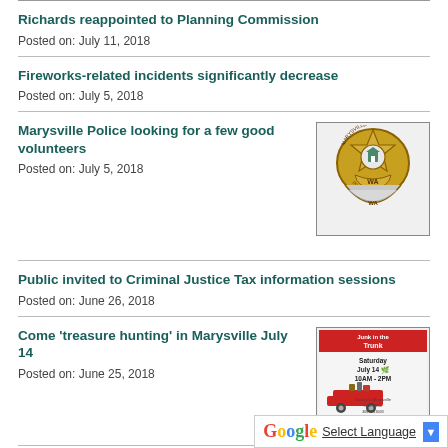Richards reappointed to Planning Commission
Posted on: July 11, 2018
Fireworks-related incidents significantly decrease
Posted on: July 5, 2018
Marysville Police looking for a few good volunteers
Posted on: July 5, 2018
[Figure (illustration): Marysville Police badge/shield logo, gold and silver, with WA text]
Public invited to Criminal Justice Tax information sessions
Posted on: June 26, 2018
Come 'treasure hunting' in Marysville July 14
Posted on: June 25, 2018
[Figure (illustration): Junk in the Trunk event flyer, Saturday July 14, 10AM-2PM, red pickup truck with junk]
City block grant committee seeks new member
Posted on: June 12, 2018